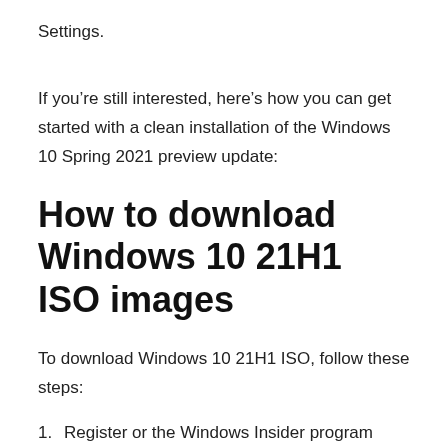Settings.
If you’re still interested, here’s how you can get started with a clean installation of the Windows 10 Spring 2021 preview update:
How to download Windows 10 21H1 ISO images
To download Windows 10 21H1 ISO, follow these steps:
1. Register or the Windows Insider program from here.